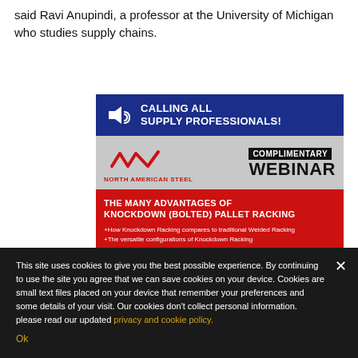said Ravi Anupindi, a professor at the University of Michigan who studies supply chains.
[Figure (infographic): North American Steel complimentary webinar advertisement banner. Blue header reads 'CALLING ALL SUPPLY PROFESSIONALS!' with megaphone icon. Middle grey section shows NAS logo (wave graphic and NORTH AMERICAN STEEL text) and COMPLIMENTARY WEBINAR text. Red bottom section: 'THE MANY ADVANTAGES OF KNOCKDOWN (BOLTED) PALLET RACKING' with bullet points about Knockdown Racking.]
This site uses cookies to give you the best possible experience. By continuing to use the site you agree that we can save cookies on your device. Cookies are small text files placed on your device that remember your preferences and some details of your visit. Our cookies don’t collect personal information. please read our updated privacy and cookie policy.
Ok